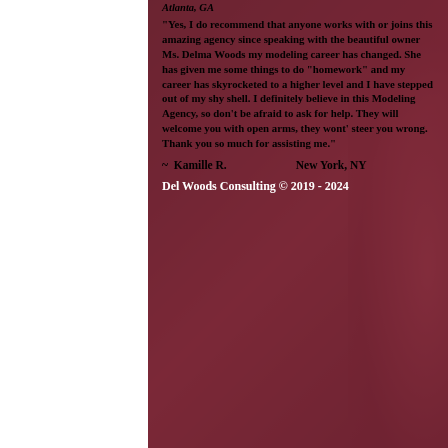Atlanta, GA
"Yes, I do recommend that anyone works with or joins this amazing agency since speaking with the beautiful owner Ms. Delma Woods my modeling career has changed. She has given me some things to do "homework" and my career has skyrocketed to a higher level and I have stepped out of my shy shell. I definitely believe in this Modeling Agency, so don't be afraid to ask for help. They will welcome you with open arms, they wont' steer you wrong. Thank you so much for assisting me."
~ Kamille R.                    New York, NY
Del Woods Consulting © 2019 - 2024